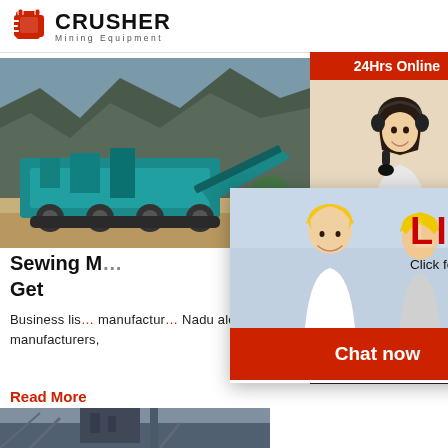[Figure (logo): Crusher Mining Equipment logo with red shopping bag icon and bold CRUSHER text]
[Figure (photo): Blue mining crusher machine on rocky terrain outdoors]
Sewing Machine Manufacturers in Tamil Nadu - Get
Business list of sewing machine manufacturers, suppliers, exporters in Tamil Nadu along with their contact details & address. Find here Sewing Machines, Stitching Machine, Silai Machine manufacturers,
Read More
[Figure (photo): Industrial factory or plant building with machinery]
[Figure (infographic): Live chat popup overlay with workers in hard hats, LIVE CHAT text in red, Chat now and Chat later buttons]
[Figure (infographic): Right sidebar: 24Hrs Online, customer service representative photo, Need questions & suggestion? Chat Now, Enquiry, limingjlmofen@sina.com]